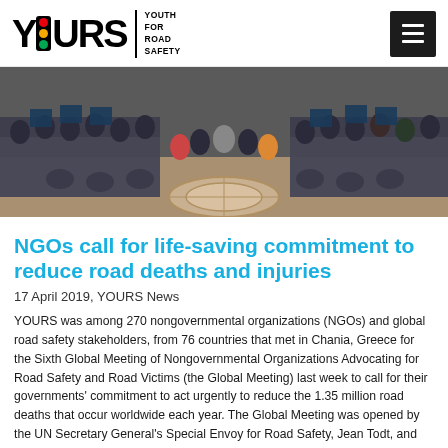YOURS | YOUTH FOR ROAD SAFETY
[Figure (photo): Group photo of approximately 270 NGO representatives and road safety stakeholders gathered indoors around a circular floor feature, holding signs. Taken at the Sixth Global Meeting in Chania, Greece.]
NGOs call for life-saving commitment to reduce road deaths and injuries
17 April 2019, YOURS News
YOURS was among 270 nongovernmental organizations (NGOs) and global road safety stakeholders, from 76 countries that met in Chania, Greece for the Sixth Global Meeting of Nongovernmental Organizations Advocating for Road Safety and Road Victims (the Global Meeting) last week to call for their governments' commitment to act urgently to reduce the 1.35 million road deaths that occur worldwide each year. The Global Meeting was opened by the UN Secretary General's Special Envoy for Road Safety, Jean Todt, and was organized by the Global Alliance of NGOs for Road Safety, and cohosted by the World Health Organization (WHO) and